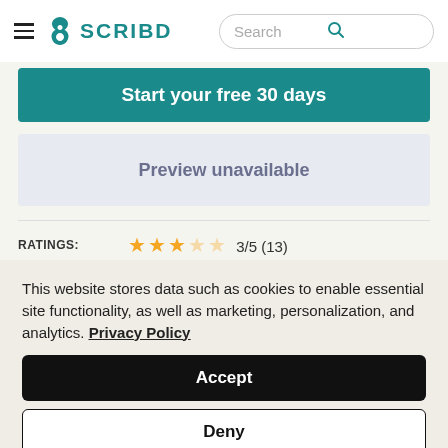[Figure (screenshot): Scribd website navigation bar with hamburger menu, Scribd logo, and search bar]
Start your free 30 days
Preview unavailable
RATINGS: 3/5 (13)
PUBLISHER: Hal Leonard LLC
RELEASED: Jan 1, 1993
This website stores data such as cookies to enable essential site functionality, as well as marketing, personalization, and analytics. Privacy Policy
Accept
Deny